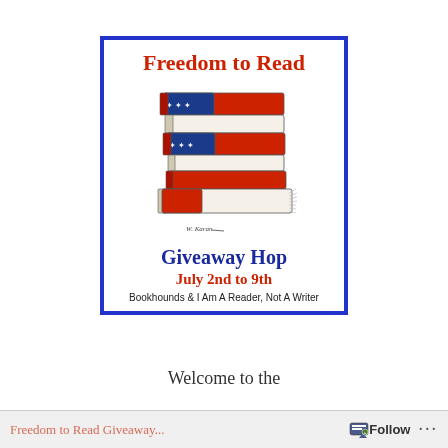[Figure (illustration): Freedom to Read Giveaway Hop poster with blue border. Title 'Freedom to Read' in red serif font at top. Center illustration shows a stack of books decorated as an American flag with red and white horizontal stripes and blue field with white stars. Below the illustration: 'Giveaway Hop' in large dark blue serif font, 'July 2nd to 9th' in red, and 'Bookhounds & I Am A Reader, Not A Writer' in small black text at bottom.]
Welcome to the
Freedom to Read Giveaway...